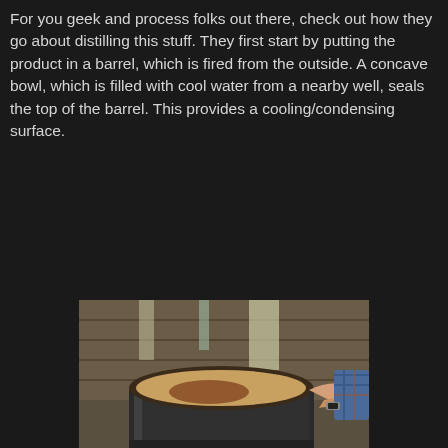For you geek and process folks out there, check out how they go about distilling this stuff. They first start by putting the product in a barrel, which is fired from the outside. A concave bowl, which is filled with cool water from a nearby well, seals the top of the barrel. This provides a cooling/condensing surface.
[Figure (photo): A large dark metal barrel or drum viewed from above and side, open at the top showing a brownish liquid inside. A person's hands wearing a plaid shirt and watch are visible at the right edge touching the barrel. A metal pipe protrudes from the lower side. The setting appears to be inside a rustic wooden building.]